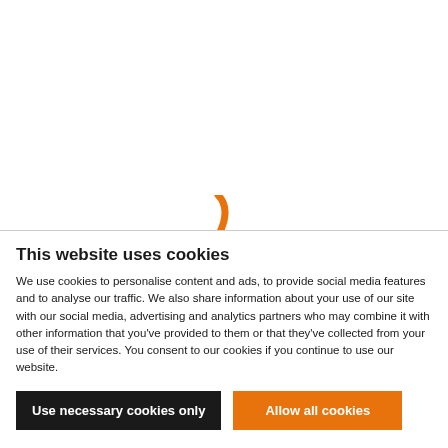[Figure (illustration): Partial screenshot of a website with an orange curved swoosh graphic element and a horizontal divider line at the bottom of the visible page area.]
This website uses cookies
We use cookies to personalise content and ads, to provide social media features and to analyse our traffic. We also share information about your use of our site with our social media, advertising and analytics partners who may combine it with other information that you've provided to them or that they've collected from your use of their services. You consent to our cookies if you continue to use our website.
Use necessary cookies only
Allow all cookies
Show details